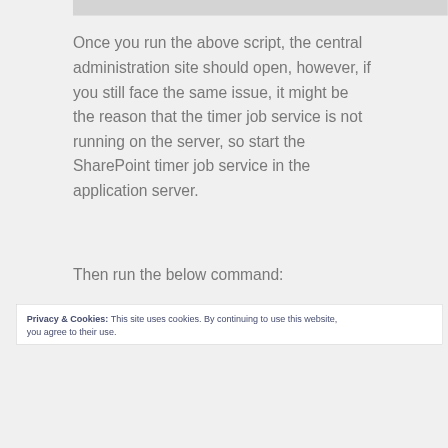[Figure (screenshot): Partial screenshot/image bar at top of page, gray rectangle]
Once you run the above script, the central administration site should open, however, if you still face the same issue, it might be the reason that the timer job service is not running on the server, so start the SharePoint timer job service in the application server.
Then run the below command:
Privacy & Cookies: This site uses cookies. By continuing to use this website, you agree to their use.